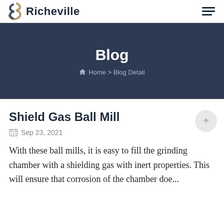Richeville
Blog
🏠 Home > Blog Detail
Shield Gas Ball Mill
Sep 23, 2021
With these ball mills, it is easy to fill the grinding chamber with a shielding gas with inert properties. This will ensure that corrosion of the chamber doe...